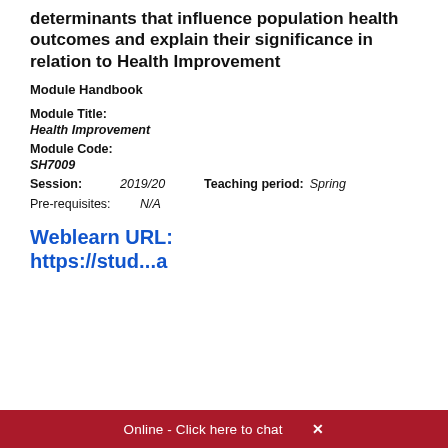determinants that influence population health outcomes and explain their significance in relation to Health Improvement
Module Handbook
Module Title:
Health Improvement
Module Code:
SH7009
Session:   2019/20   Teaching period:   Spring
Pre-requisites:   N/A
Weblearn URL: https://stu...a